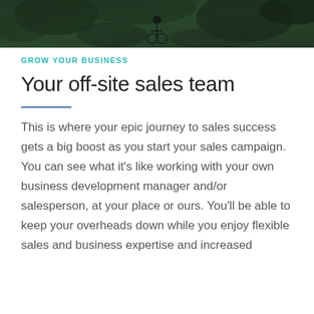[Figure (photo): A photo strip at the top showing an outdoor scene with dark green foliage and what appears to be a cyclist or person on a bike]
GROW YOUR BUSINESS
Your off-site sales team
This is where your epic journey to sales success gets a big boost as you start your sales campaign. You can see what it's like working with your own business development manager and/or salesperson, at your place or ours. You'll be able to keep your overheads down while you enjoy flexible sales and business expertise and increased